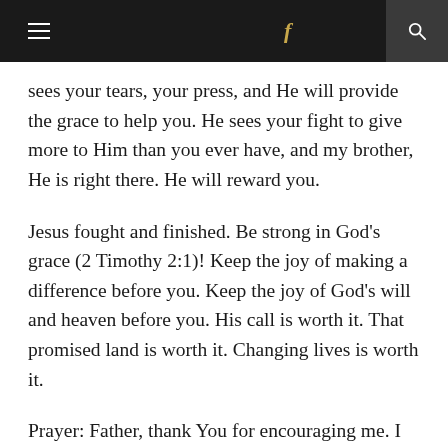Navigation bar with hamburger menu, Facebook icon, and search icon
sees your tears, your press, and He will provide the grace to help you. He sees your fight to give more to Him than you ever have, and my brother, He is right there. He will reward you.
Jesus fought and finished. Be strong in God's grace (2 Timothy 2:1)! Keep the joy of making a difference before you. Keep the joy of God's will and heaven before you. His call is worth it. That promised land is worth it. Changing lives is worth it.
Prayer: Father, thank You for encouraging me. I realize that I have to fight for it